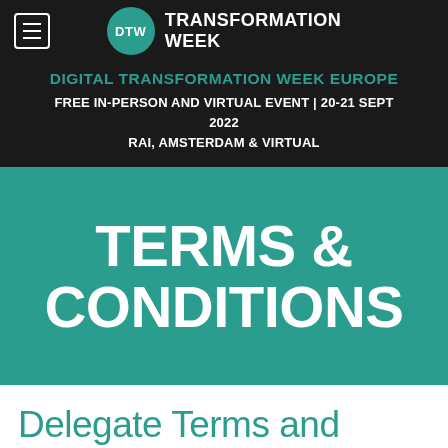DTW TRANSFORMATION WEEK
DIGITAL TRANSFORMATION WEEK EUROPE
FREE IN-PERSON AND VIRTUAL EVENT | 20-21 SEPT 2022
RAI, AMSTERDAM & VIRTUAL
TERMS & CONDITIONS
Delegate Terms and